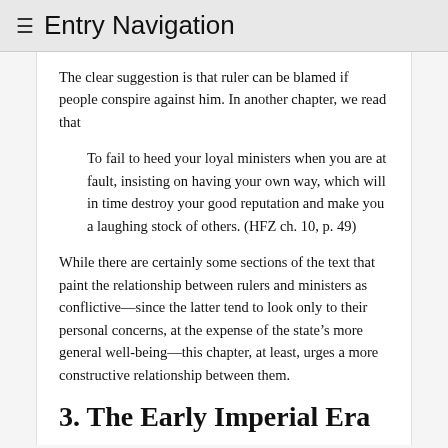≡ Entry Navigation
The clear suggestion is that ruler can be blamed if people conspire against him. In another chapter, we read that
To fail to heed your loyal ministers when you are at fault, insisting on having your own way, which will in time destroy your good reputation and make you a laughing stock of others. (HFZ ch. 10, p. 49)
While there are certainly some sections of the text that paint the relationship between rulers and ministers as conflictive—since the latter tend to look only to their personal concerns, at the expense of the state's more general well-being—this chapter, at least, urges a more constructive relationship between them.
3. The Early Imperial Era
In 221 BCE the king of the state of Qin vanquishes his final rival and declares himself the First Emperor,